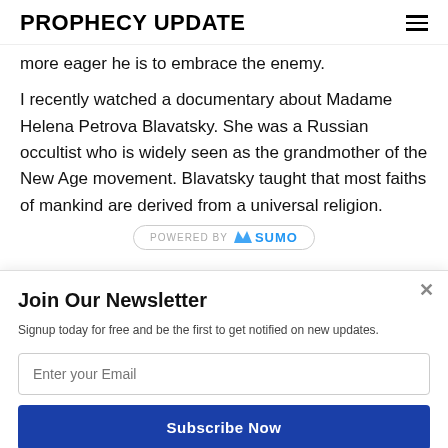PROPHECY UPDATE
more eager he is to embrace the enemy.
I recently watched a documentary about Madame Helena Petrova Blavatsky. She was a Russian occultist who is widely seen as the grandmother of the New Age movement. Blavatsky taught that most faiths of mankind are derived from a universal religion.
[Figure (logo): POWERED BY SUMO pill-shaped badge]
Join Our Newsletter
Signup today for free and be the first to get notified on new updates.
Enter your Email
Subscribe Now